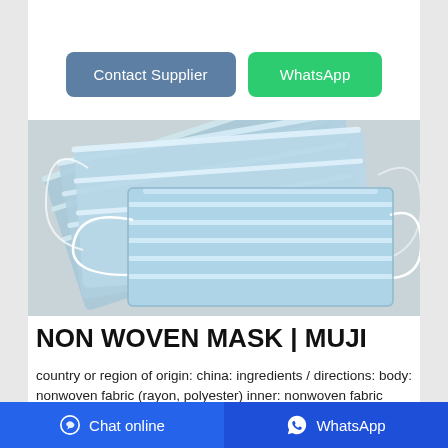[Figure (other): Two buttons: 'Contact Supplier' (blue-grey rounded rectangle) and 'WhatsApp' (green rounded rectangle)]
[Figure (photo): Photo of multiple light blue disposable non-woven face masks stacked and fanned out on a light grey surface, with white elastic ear loops visible]
NON WOVEN MASK | MUJI
country or region of origin: china: ingredients / directions: body: nonwoven fabric (rayon, polyester) inner: nonwoven fabric (polypropylene 100%) filter part: nonwoven fabric (polypropylene
Chat online   WhatsApp